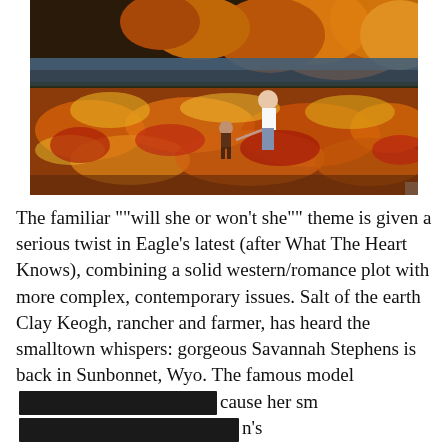[Figure (illustration): Oil painting of a woman and child in a field of red, orange, and yellow wildflowers with autumn trees and a body of water in the background.]
The familiar ""will she or won't she"" theme is given a serious twist in Eagle's latest (after What The Heart Knows), combining a solid western/romance plot with more complex, contemporary issues. Salt of the earth Clay Keogh, rancher and farmer, has heard the smalltown whispers: gorgeous Savannah Stephens is back in Sunbonnet, Wyo. The famous model [redacted] cause her sm[redacted]n's